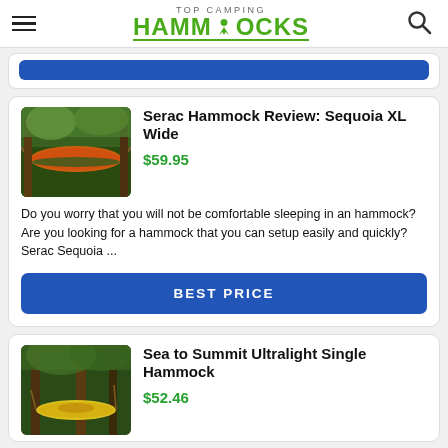TOP CAMPING HAMMOCKS
[Figure (screenshot): Blue 'BEST PRICE' button from previous card, partially visible at top]
Serac Hammock Review: Sequoia XL Wide
$59.95
Do you worry that you will not be comfortable sleeping in an hammock? Are you looking for a hammock that you can setup easily and quickly? Serac Sequoia ...
[Figure (photo): Orange and green hammock strung between trees in forest]
BEST PRICE
Sea to Summit Ultralight Single Hammock
$52.46
[Figure (photo): Yellow hammock strung between tall trees in forest, person visible]